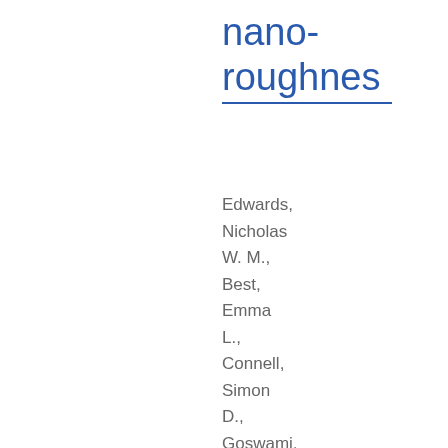nano-roughnes
Edwards, Nicholas W. M., Best, Emma L., Connell, Simon D., Goswami, Parikshit, Carr, Chris M., Wilcox, Mark H. and